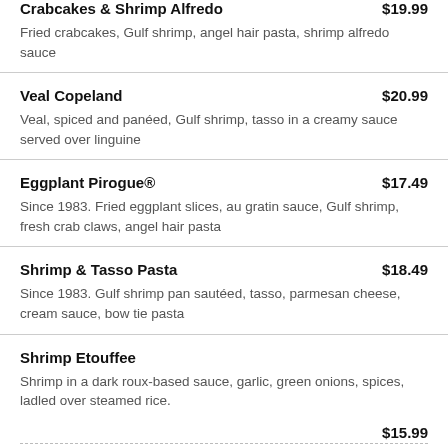Crabcakes & Shrimp Alfredo — $19.99 — Fried crabcakes, Gulf shrimp, angel hair pasta, shrimp alfredo sauce
Veal Copeland — $20.99 — Veal, spiced and panéed, Gulf shrimp, tasso in a creamy sauce served over linguine
Eggplant Pirogue® — $17.49 — Since 1983. Fried eggplant slices, au gratin sauce, Gulf shrimp, fresh crab claws, angel hair pasta
Shrimp & Tasso Pasta — $18.49 — Since 1983. Gulf shrimp pan sautéed, tasso, parmesan cheese, cream sauce, bow tie pasta
Shrimp Etouffee — Shrimp in a dark roux-based sauce, garlic, green onions, spices, ladled over steamed rice.
$15.99